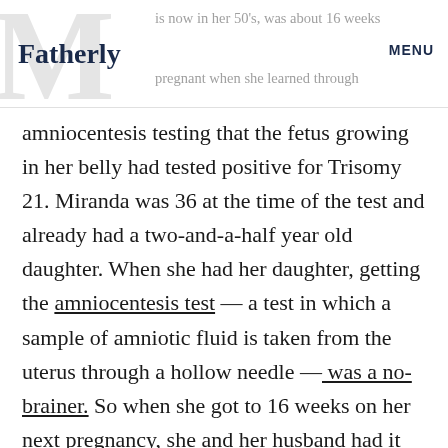Fatherly | MENU | is now in her 50's, was about 16 weeks pregnant when she learned through
amniocentesis testing that the fetus growing in her belly had tested positive for Trisomy 21. Miranda was 36 at the time of the test and already had a two-and-a-half year old daughter. When she had her daughter, getting the amniocentesis test — a test in which a sample of amniotic fluid is taken from the uterus through a hollow needle — was a no-brainer. So when she got to 16 weeks on her next pregnancy, she and her husband had it again. While Miranda and her husband had an idea of what was coming — an ultrasound showed complications before the test results were revealed — they were forced to make a decision for their family, for their existing child, and